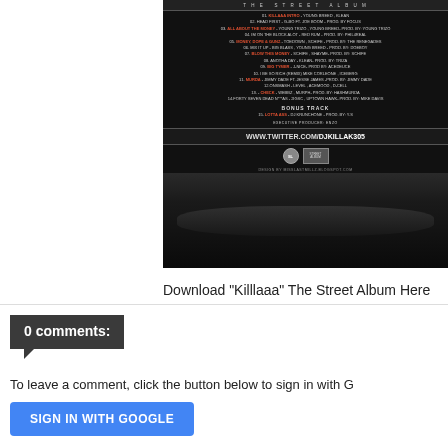[Figure (photo): Album back cover for 'Killlaaa The Street Album' showing tracklist on dark background with a body image at the bottom and Twitter URL www.twitter.com/DJKILLAK305]
Download "Killlaaa" The Street Album Here
0 comments:
To leave a comment, click the button below to sign in with G
SIGN IN WITH GOOGLE